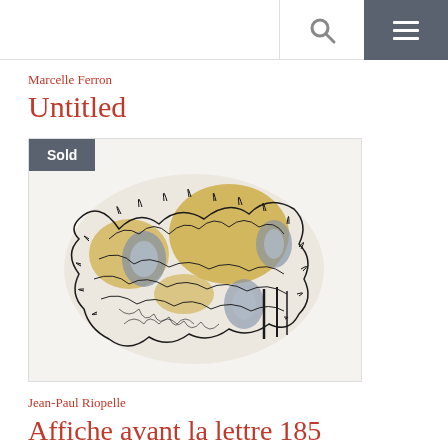Marcelle Ferron
Untitled
[Figure (illustration): Abstract artwork with intricate black ink line work overlaid with gold/yellow and blue-grey patches on white background, depicting organic forms that suggest faces or natural structures. A grey 'Sold' badge overlays the top-left corner.]
Jean-Paul Riopelle
Affiche avant la lettre 185